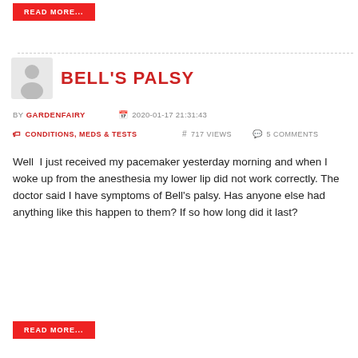READ MORE...
BELL'S PALSY
BY GARDENFAIRY   2020-01-17 21:31:43
CONDITIONS, MEDS & TESTS   717 VIEWS   5 COMMENTS
Well  I just received my pacemaker yesterday morning and when I woke up from the anesthesia my lower lip did not work correctly. The doctor said I have symptoms of Bell's palsy. Has anyone else had anything like this happen to them? If so how long did it last?
READ MORE...